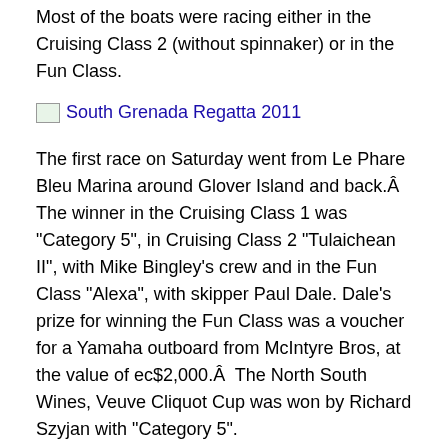Most of the boats were racing either in the Cruising Class 2 (without spinnaker) or in the Fun Class.
[Figure (photo): Image placeholder for South Grenada Regatta 2011]
The first race on Saturday went from Le Phare Bleu Marina around Glover Island and back.Â  The winner in the Cruising Class 1 was “Category 5”, in Cruising Class 2 “Tulaichean II”, with Mike Bingley's crew and in the Fun Class “Alexa”, with skipper Paul Dale. Dale's prize for winning the Fun Class was a voucher for a Yamaha outboard from McIntyre Bros, at the value of ec$2,000.Â  The North South Wines, Veuve Cliquot Cup was won by Richard Szyjan with “Category 5”.
The second race had the same winners as the first except in the Cruising Class 2, which was won by Scott Watson on “Boxxer” winning the Westerhall Cup.